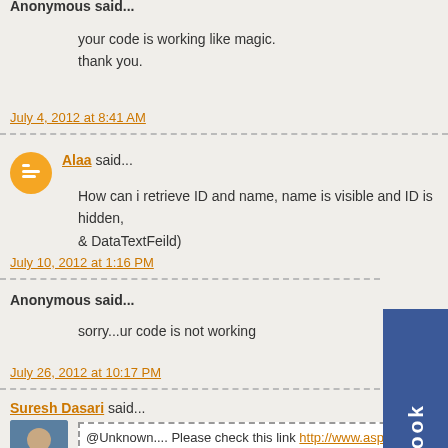Anonymous said...
your code is working like magic.
thank you.
July 4, 2012 at 8:41 AM
Alaa said...
How can i retrieve ID and name, name is visible and ID is hidden, & DataTextFeild)
July 10, 2012 at 1:16 PM
Anonymous said...
sorry...ur code is not working
July 26, 2012 at 10:17 PM
Suresh Dasari said...
@Unknown.... Please check this link http://www.aspdotnet-textbox-with.html